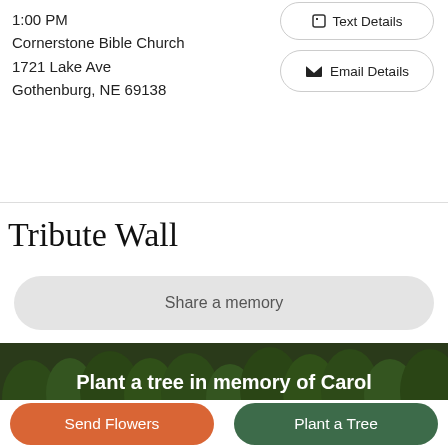1:00 PM
Cornerstone Bible Church
1721 Lake Ave
Gothenburg, NE 69138
Text Details
Email Details
Tribute Wall
Share a memory
[Figure (photo): Forest of green trees forming a dark background banner]
Plant a tree in memory of Carol
An environmentally-friendly option
Send Flowers
Plant a Tree